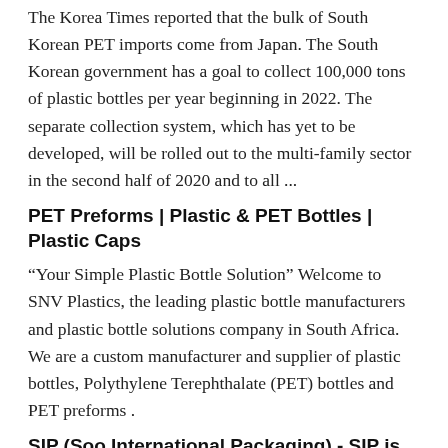The Korea Times reported that the bulk of South Korean PET imports come from Japan. The South Korean government has a goal to collect 100,000 tons of plastic bottles per year beginning in 2022. The separate collection system, which has yet to be developed, will be rolled out to the multi-family sector in the second half of 2020 and to all ...
PET Preforms | Plastic & PET Bottles | Plastic Caps
“Your Simple Plastic Bottle Solution” Welcome to SNV Plastics, the leading plastic bottle manufacturers and plastic bottle solutions company in South Africa. We are a custom manufacturer and supplier of plastic bottles, Polythylene Terephthalate (PET) bottles and PET preforms .
SIP (Soo International Packaging) - SIP is one of the biggest ...
SIP (Soo International Packaging) Company Profile SIP